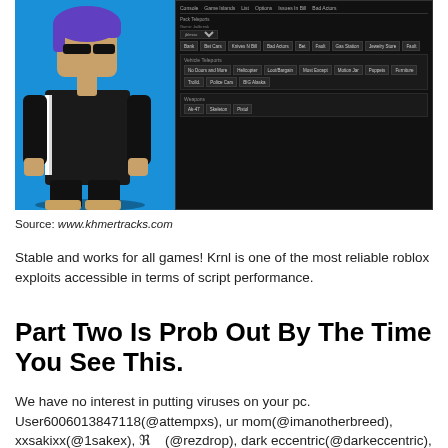[Figure (screenshot): Screenshot showing a Roblox character with purple hair wearing a black jacket on a blue background, alongside a dark game exploit menu UI with various buttons including game options like Teleport, Murder, Bad Guys, Knives N Bill, Bad Actors, Bet, Gas Station, Jewelry Store, Fault, Helicopter, Loot/Bargain, Most Except, Motion Jar, No Doors and More, Puppets, Troll, Police Cars, Furniture, BIG Alaska, Weapons, Ak-47, Skeleton, Pistol]
Source: www.khmertracks.com
Stable and works for all games! Krnl is one of the most reliable roblox exploits accessible in terms of script performance.
Part Two Is Prob Out By The Time You See This.
We have no interest in putting viruses on your pc. User6006013847118(@attempxs), ur mom(@imanotherbreed), xxsakixx(@1sakex), ℜ    (@rezdrop), dark eccentric(@darkeccentric), dark